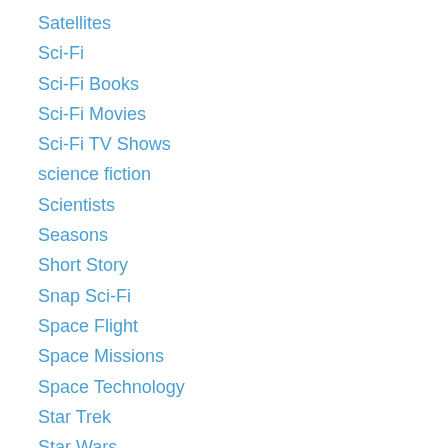Satellites
Sci-Fi
Sci-Fi Books
Sci-Fi Movies
Sci-Fi TV Shows
science fiction
Scientists
Seasons
Short Story
Snap Sci-Fi
Space Flight
Space Missions
Space Technology
Star Trek
Star Wars
Star Wars: The Last Jedi
Star Wars: The Rise of Skywalker
Stargate
Stars and Constellations
Stormtroopers